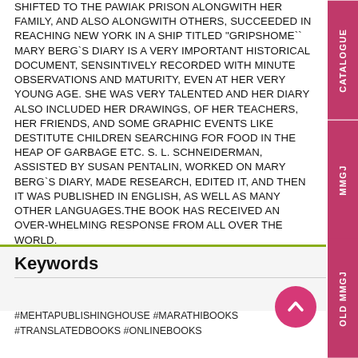SHIFTED TO THE PAWIAK PRISON ALONGWITH HER FAMILY, AND ALSO ALONGWITH OTHERS, SUCCEEDED IN REACHING NEW YORK IN A SHIP TITLED "GRIPSHOME`` MARY BERG`S DIARY IS A VERY IMPORTANT HISTORICAL DOCUMENT, SENSINTIVELY RECORDED WITH MINUTE OBSERVATIONS AND MATURITY, EVEN AT HER VERY YOUNG AGE. SHE WAS VERY TALENTED AND HER DIARY ALSO INCLUDED HER DRAWINGS, OF HER TEACHERS, HER FRIENDS, AND SOME GRAPHIC EVENTS LIKE DESTITUTE CHILDREN SEARCHING FOR FOOD IN THE HEAP OF GARBAGE ETC. S. L. SCHNEIDERMAN, ASSISTED BY SUSAN PENTALIN, WORKED ON MARY BERG`S DIARY, MADE RESEARCH, EDITED IT, AND THEN IT WAS PUBLISHED IN ENGLISH, AS WELL AS MANY OTHER LANGUAGES.THE BOOK HAS RECEIVED AN OVER-WHELMING RESPONSE FROM ALL OVER THE WORLD.
Keywords
#MEHTAPUBLISHINGHOUSE #MARATHIBOOKS #TRANSLATEDBOOKS #ONLINEBOOKS